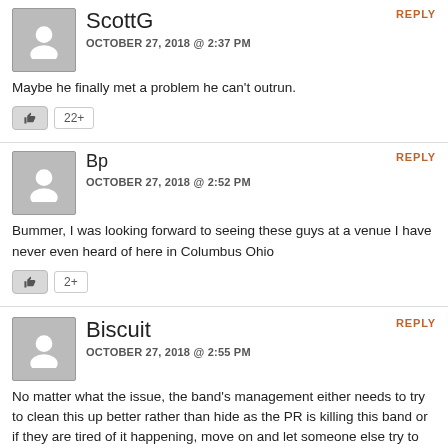REPLY
ScottG
OCTOBER 27, 2018 @ 2:37 PM
Maybe he finally met a problem he can't outrun.
22+
REPLY
Bp
OCTOBER 27, 2018 @ 2:52 PM
Bummer, I was looking forward to seeing these guys at a venue I have never even heard of here in Columbus Ohio
2+
REPLY
Biscuit
OCTOBER 27, 2018 @ 2:55 PM
No matter what the issue, the band's management either needs to try to clean this up better rather than hide as the PR is killing this band or if they are tired of it happening, move on and let someone else try to sweep it all up.